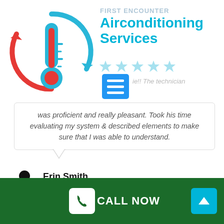[Figure (logo): Airconditioning service logo: thermometer with red and blue circular arrows indicating temperature control]
FIRST ENCOUNTER
Airconditioning Services
[Figure (infographic): 5 light blue stars rating]
[Figure (infographic): Blue menu/hamburger icon square]
was proficient and really pleasant. Took his time evaluating my system & described elements to make sure that I was able to understand.
Erin Smith
September 08, 2017
CALL NOW